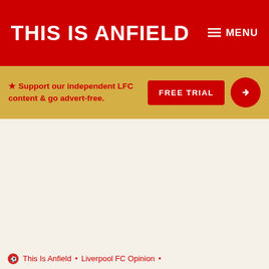THIS IS ANFIELD  ≡ MENU
★ Support our independent LFC content & go advert-free.  FREE TRIAL
This Is Anfield • Liverpool FC Opinion •